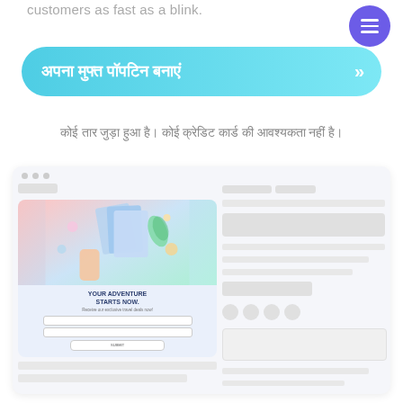customers as fast as a blink.
[Figure (other): Purple hamburger menu button circle]
[Figure (other): Cyan/teal CTA button with Hindi text 'अपना मुफ्त पॉपटिन बनाएं' and chevron arrows]
कोई तार जुड़ा हुआ है। कोई क्रेडिट कार्ड की आवश्यकता नहीं है।
[Figure (screenshot): Browser mockup showing a popup card with 'YOUR ADVENTURE STARTS NOW. Receive our exclusive travel deals now!' with name/email fields and submit button, alongside placeholder content blocks on right]